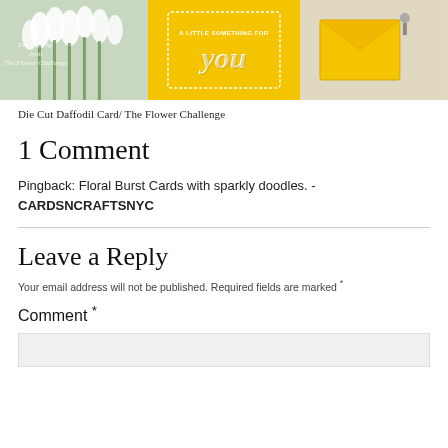[Figure (photo): Collage of three images: left shows white flowers (daffodils/tulips), center shows a yellow handmade card with 'A little something for you' text, right shows a yellow envelope on a light background. Text overlay on left image reads 'Designed by Jyoti The Flower Challenge'.]
Die Cut Daffodil Card/ The Flower Challenge
1 Comment
Pingback: Floral Burst Cards with sparkly doodles. - CARDSNCRAFTSNYC
Leave a Reply
Your email address will not be published. Required fields are marked *
Comment *